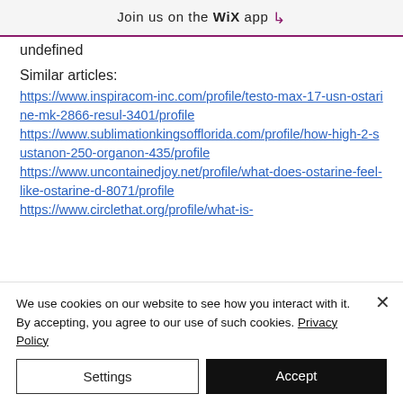Join us on the WiX app ↓
undefined
Similar articles:
https://www.inspiracom-inc.com/profile/testo-max-17-usn-ostarine-mk-2866-resul-3401/profile
https://www.sublimationkingsofflorida.com/profile/how-high-2-sustanon-250-organon-435/profile
https://www.uncontainedjoy.net/profile/what-does-ostarine-feel-like-ostarine-d-8071/profile
https://www.circlethat.org/profile/what-is-
We use cookies on our website to see how you interact with it. By accepting, you agree to our use of such cookies. Privacy Policy
Settings
Accept